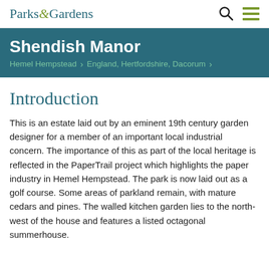Parks & Gardens
Shendish Manor
Hemel Hempstead > England, Hertfordshire, Dacorum >
Introduction
This is an estate laid out by an eminent 19th century garden designer for a member of an important local industrial concern. The importance of this as part of the local heritage is reflected in the PaperTrail project which highlights the paper industry in Hemel Hempstead. The park is now laid out as a golf course. Some areas of parkland remain, with mature cedars and pines. The walled kitchen garden lies to the north-west of the house and features a listed octagonal summerhouse.